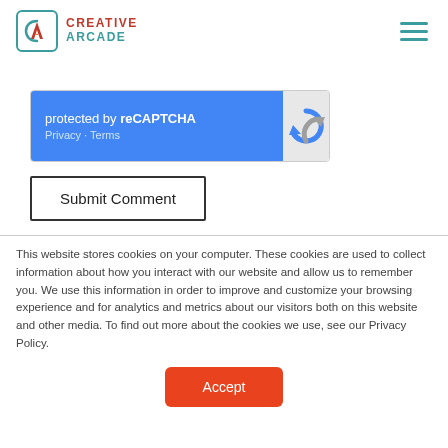[Figure (logo): Creative Arcade logo with teal bordered box containing CA letters and red/teal company name text]
[Figure (other): Hamburger menu icon with three teal horizontal lines]
[Figure (other): reCAPTCHA widget with blue left panel showing 'protected by reCAPTCHA' text with Privacy and Terms links, and grey right panel with reCAPTCHA circular arrow logo]
Submit Comment
This website stores cookies on your computer. These cookies are used to collect information about how you interact with our website and allow us to remember you. We use this information in order to improve and customize your browsing experience and for analytics and metrics about our visitors both on this website and other media. To find out more about the cookies we use, see our Privacy Policy.
Accept